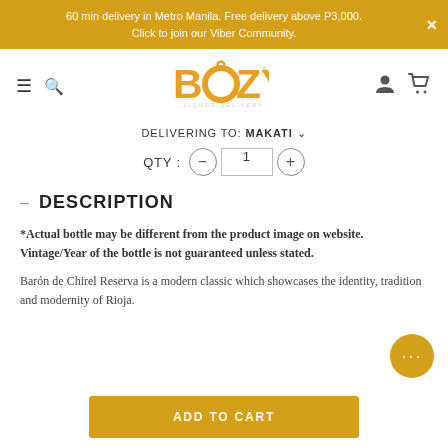60 min delivery in Metro Manila. Free delivery above P3,000. Click to join our Viber Community.
[Figure (logo): Boozy Liquor Delivery logo in orange with two circles forming the O letters]
DELIVERING TO: MAKATI
QTY : 1
DESCRIPTION
*Actual bottle may be different from the product image on website. Vintage/Year of the bottle is not guaranteed unless stated.
Barón de Chirel Reserva is a modern classic which showcases the identity, tradition and modernity of Rioja.
ADD TO CART